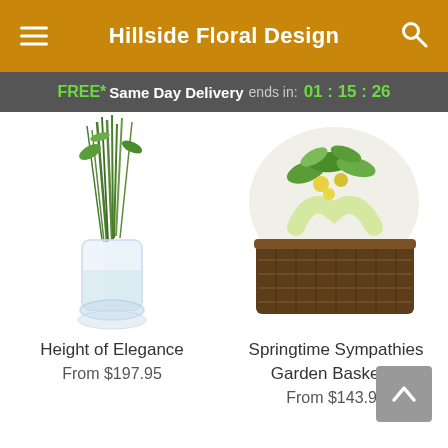Hillside Floral Design
FREE* Same Day Delivery ends in: 01 : 15 : 26
[Figure (photo): Tall glass vase with green stems arrangement - Height of Elegance product photo]
Height of Elegance
From $197.95
[Figure (photo): Dark wicker basket with green plants and yellow flowers arrangement wrapped with ribbon - Springtime Sympathies Garden Basket product photo]
Springtime Sympathies Garden Basket™
From $143.95